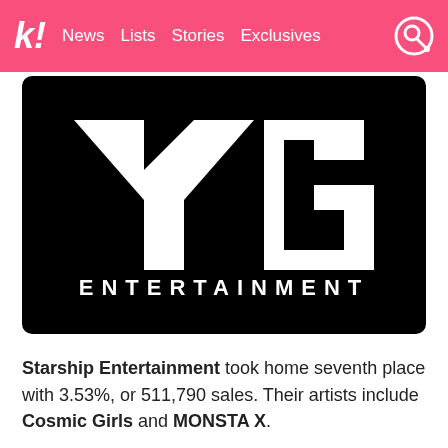k! News Lists Stories Exclusives
[Figure (logo): YG Entertainment logo — white YG symbol on black background with ENTERTAINMENT text below]
Starship Entertainment took home seventh place with 3.53%, or 511,790 sales. Their artists include Cosmic Girls and MONSTA X.